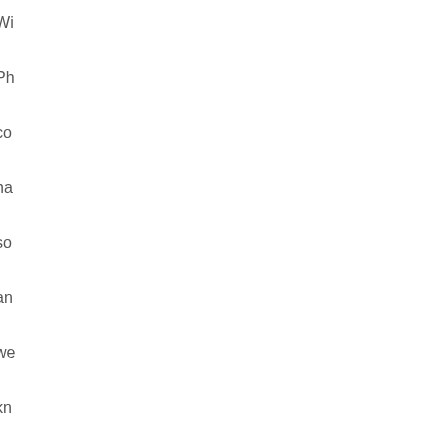Wi
Ph
co
ha
so
an
we
kn
the
Sa
an
HT
stil
sel
so
Wh
ph